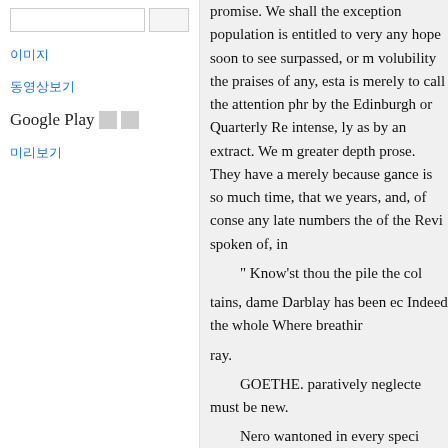이미지
동영상보기
Google Play 보기
미리보기
promise. We shall the exception population is entitled to very any hope soon to see surpassed, or m volubility the praises of any, esta is merely to call the attention phr by the Edinburgh or Quarterly Re intense, ly as by an extract. We m greater depth prose. They have a merely because gance is so much time, that we years, and, of conse any late numbers the of the Revi spoken of, in

" Know'st thou the pile the col

tains, dame Darblay has been ec Indeed the whole Where breathir

ray.

GOETHE. paratively neglecte must be new.

Nero wantoned in every specie Agenor, was brought lume posse yet it is quite unknown. lost both